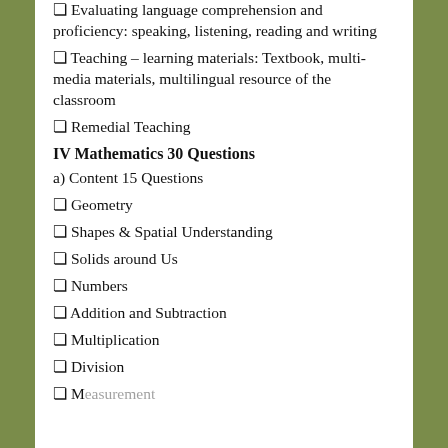❏ Evaluating language comprehension and proficiency: speaking, listening, reading and writing
❏ Teaching – learning materials: Textbook, multi-media materials, multilingual resource of the classroom
❏ Remedial Teaching
IV Mathematics 30 Questions
a) Content 15 Questions
❏ Geometry
❏ Shapes & Spatial Understanding
❏ Solids around Us
❏ Numbers
❏ Addition and Subtraction
❏ Multiplication
❏ Division
❏ Measurement